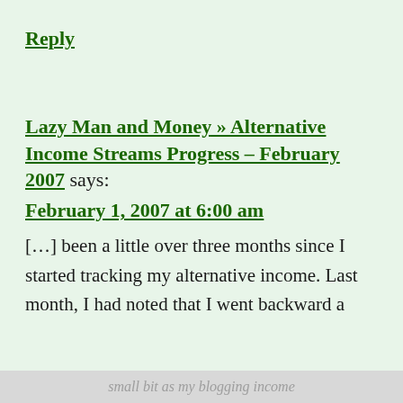Reply
Lazy Man and Money » Alternative Income Streams Progress – February 2007 says:
February 1, 2007 at 6:00 am
[…] been a little over three months since I started tracking my alternative income. Last month, I had noted that I went backward a
small bit as my blogging income